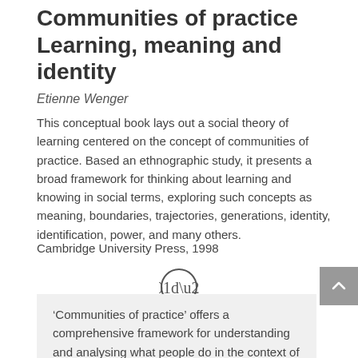Communities of practice Learning, meaning and identity
Etienne Wenger
This conceptual book lays out a social theory of learning centered on the concept of communities of practice. Based an ethnographic study, it presents a broad framework for thinking about learning and knowing in social terms, exploring such concepts as meaning, boundaries, trajectories, generations, identity, identification, power, and many others.
Cambridge University Press, 1998
[Figure (illustration): Quotation mark icon inside a circle]
‘Communities of practice’ offers a comprehensive framework for understanding and analysing what people do in the context of their social milieu. The